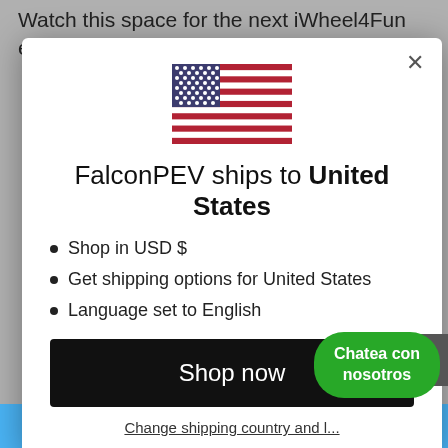Watch this space for the next iWheel4Fun event taking place in mid 2017.
[Figure (screenshot): Modal dialog showing US flag, title 'FalconPEV ships to United States', bullet list of shipping options, a black 'Shop now' button, and a 'Change shipping country and language' link.]
Shop in USD $
Get shipping options for United States
Language set to English
Shop now
Change shipping country and l...
Chatea con nosotros
Get 10% off!